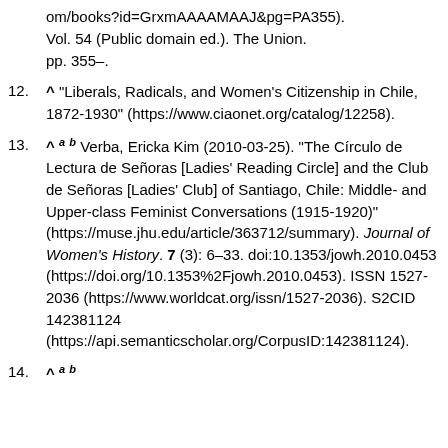om/books?id=GrxmAAAAMAAJ&pg=PA355). Vol. 54 (Public domain ed.). The Union. pp. 355–.
12. ^ "Liberals, Radicals, and Women's Citizenship in Chile, 1872-1930" (https://www.ciaonet.org/catalog/12258).
13. ^ a b Verba, Ericka Kim (2010-03-25). "The Círculo de Lectura de Señoras [Ladies' Reading Circle] and the Club de Señoras [Ladies' Club] of Santiago, Chile: Middle- and Upper-class Feminist Conversations (1915-1920)" (https://muse.jhu.edu/article/363712/summary). Journal of Women's History. 7 (3): 6–33. doi:10.1353/jowh.2010.0453 (https://doi.org/10.1353%2Fjowh.2010.0453). ISSN 1527-2036 (https://www.worldcat.org/issn/1527-2036). S2CID 142381124 (https://api.semanticscholar.org/CorpusID:142381124).
14. ^ a b ...